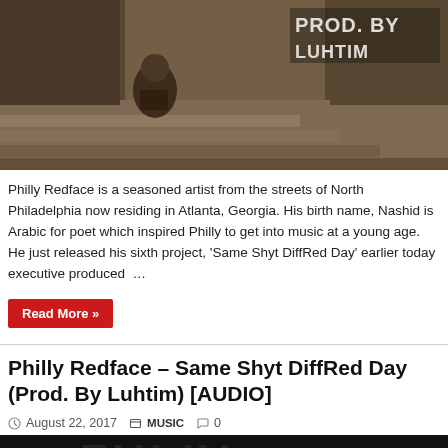[Figure (photo): Sepia-toned black and white photo showing a person sitting on stone steps of a building, with text overlay 'PROD. BY LUHTIM' in the upper right corner]
Philly Redface is a seasoned artist from the streets of North Philadelphia now residing in Atlanta, Georgia. His birth name, Nashid is Arabic for poet which inspired Philly to get into music at a young age. He just released his sixth project, 'Same Shyt DiffRed Day' earlier today executive produced …
Read More »
Philly Redface – Same Shyt DiffRed Day (Prod. By Luhtim) [AUDIO]
August 22, 2017   MUSIC   0
[Figure (photo): Partial view of another music-related image, dark background with partial text visible]